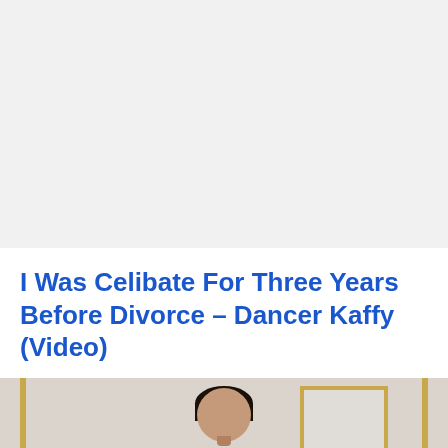I Was Celibate For Three Years Before Divorce – Dancer Kaffy (Video)
[Figure (photo): A woman with dark hair posed in front of a wall with a gold-framed picture behind her, partially visible at the bottom of the page.]